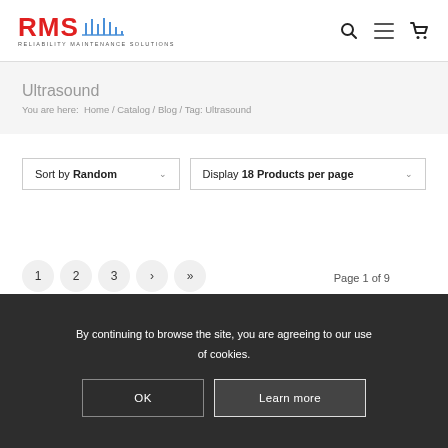[Figure (logo): RMS Reliability Maintenance Solutions logo with red RMS text and antenna graphic]
Ultrasound
You are here:  Home / Catalog / Blog / Tag: Ultrasound
Sort by Random
Display 18 Products per page
1  2  3  ›  »  Page 1 of 9
By continuing to browse the site, you are agreeing to our use of cookies.
OK    Learn more